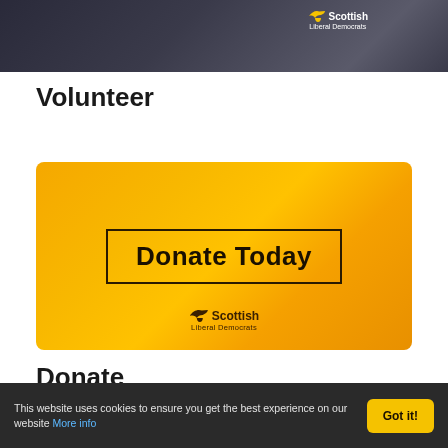[Figure (photo): Dark background photo showing someone wearing a Scottish Liberal Democrats branded top, with the Scottish Liberal Democrats logo visible in the top right area]
Volunteer
[Figure (illustration): Orange/yellow gradient banner with 'Donate Today' text in a bordered box and Scottish Liberal Democrats logo at the bottom]
Donate
This website uses cookies to ensure you get the best experience on our website More info Got it!